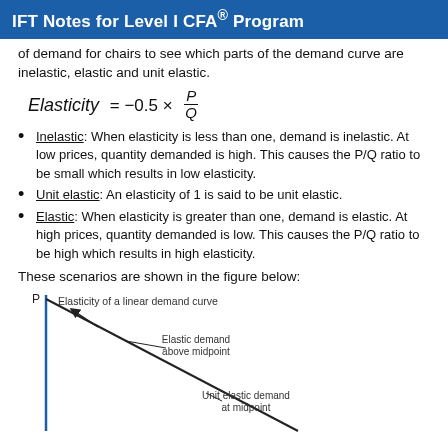IFT Notes for Level I CFA® Program
of demand for chairs to see which parts of the demand curve are inelastic, elastic and unit elastic.
Inelastic: When elasticity is less than one, demand is inelastic. At low prices, quantity demanded is high. This causes the P/Q ratio to be small which results in low elasticity.
Unit elastic: An elasticity of 1 is said to be unit elastic.
Elastic: When elasticity is greater than one, demand is elastic. At high prices, quantity demanded is low. This causes the P/Q ratio to be high which results in high elasticity.
These scenarios are shown in the figure below:
[Figure (other): Chart showing elasticity of a linear demand curve with a downward sloping line and labels: 'Elastic demand above midpoint' and 'Unit elastic demand at midpoint'. Y-axis labeled P.]